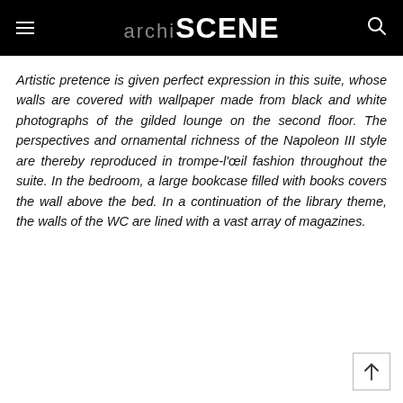archiSCENE
Artistic pretence is given perfect expression in this suite, whose walls are covered with wallpaper made from black and white photographs of the gilded lounge on the second floor. The perspectives and ornamental richness of the Napoleon III style are thereby reproduced in trompe-l’œil fashion throughout the suite. In the bedroom, a large bookcase filled with books covers the wall above the bed. In a continuation of the library theme, the walls of the WC are lined with a vast array of magazines.